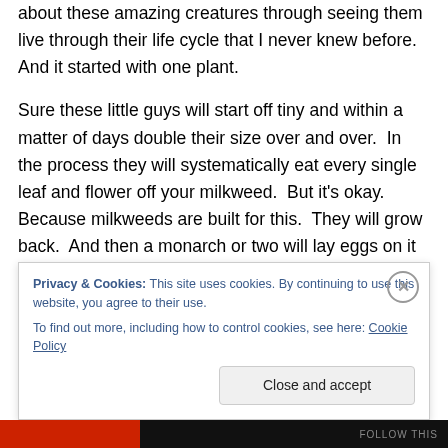about these amazing creatures through seeing them live through their life cycle that I never knew before. And it started with one plant.
Sure these little guys will start off tiny and within a matter of days double their size over and over. In the process they will systematically eat every single leaf and flower off your milkweed. But it's okay. Because milkweeds are built for this. They will grow back. And then a monarch or two will lay eggs on it again and it'll get mowed again and it will again grow back.
Privacy & Cookies: This site uses cookies. By continuing to use this website, you agree to their use.
To find out more, including how to control cookies, see here: Cookie Policy